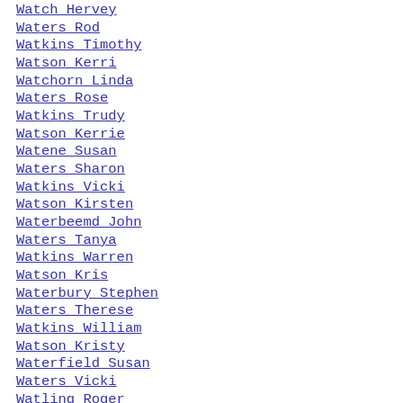Watch Hervey
Waters Rod
Watkins Timothy
Watson Kerri
Watchorn Linda
Waters Rose
Watkins Trudy
Watson Kerrie
Watene Susan
Waters Sharon
Watkins Vicki
Watson Kirsten
Waterbeemd John
Waters Tanya
Watkins Warren
Watson Kris
Waterbury Stephen
Waters Therese
Watkins William
Watson Kristy
Waterfield Susan
Waters Vicki
Watling Roger
Watson Laura
Waterford David
Watson Rebecca